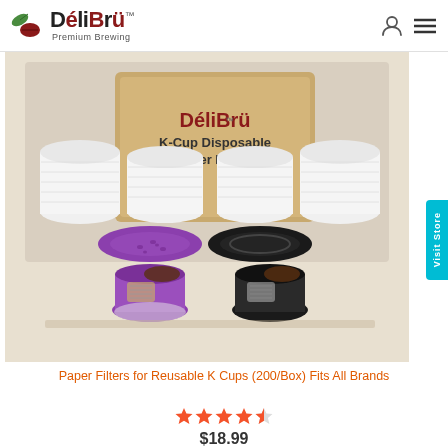DéliBrü™ Premium Brewing
[Figure (photo): Product photo of DéliBrü K-Cup Disposable Paper Filters (200/Box) with reusable K-Cup holders in purple and black, showing stacks of white paper filters and the product box packaging]
Paper Filters for Reusable K Cups (200/Box) Fits All Brands
★★★★☆
$18.99